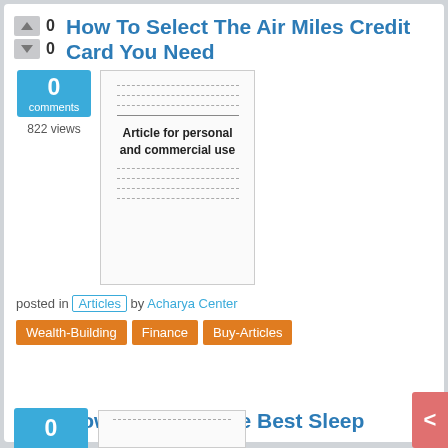How To Select The Air Miles Credit Card You Need
0
0
0 comments
822 views
[Figure (illustration): Thumbnail image of an article document with dashed lines representing text and bold caption reading 'Article for personal and commercial use']
posted in Articles by Acharya Center
Wealth-Building  Finance  Buy-Articles
How To Select The Best Sleep Apnea Treatment
0
0
0